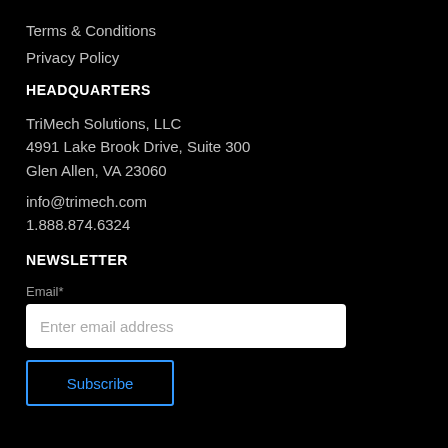Terms & Conditions
Privacy Policy
HEADQUARTERS
TriMech Solutions, LLC
4991 Lake Brook Drive, Suite 300
Glen Allen, VA 23060
info@trimech.com
1.888.874.6324
NEWSLETTER
Email*
Enter email address
Subscribe